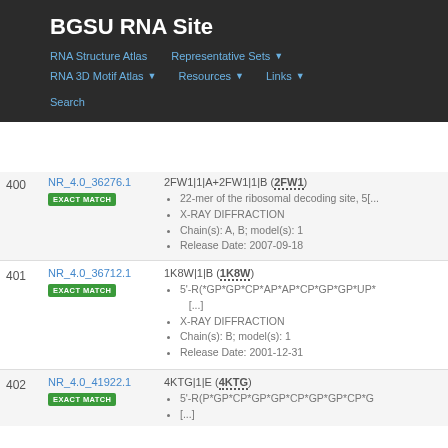BGSU RNA Site
RNA Structure Atlas
Representative Sets
RNA 3D Motif Atlas
Resources
Links
Search
| # | ID | Info |
| --- | --- | --- |
| 400 | NR_4.0_36276.1 EXACT MATCH | 2FW1|1|A+2FW1|1|B (2FW1)
• 22-mer of the ribosomal decoding site, 5[...
• X-RAY DIFFRACTION
• Chain(s): A, B; model(s): 1
• Release Date: 2007-09-18 |
| 401 | NR_4.0_36712.1 EXACT MATCH | 1K8W|1|B (1K8W)
• 5'-R(*GP*GP*CP*AP*AP*CP*GP*GP*UP*[...]
• X-RAY DIFFRACTION
• Chain(s): B; model(s): 1
• Release Date: 2001-12-31 |
| 402 | NR_4.0_41922.1 EXACT MATCH | 4KTG|1|E (4KTG)
• 5'-R(P*GP*CP*GP*GP*CP*GP*GP*CP*G...
• [...] |